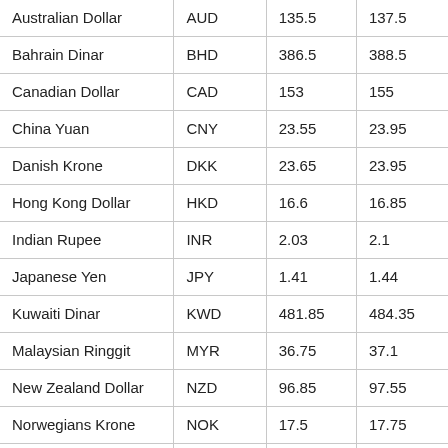| Currency | Code | Buy | Sell |
| --- | --- | --- | --- |
| Australian Dollar | AUD | 135.5 | 137.5 |
| Bahrain Dinar | BHD | 386.5 | 388.5 |
| Canadian Dollar | CAD | 153 | 155 |
| China Yuan | CNY | 23.55 | 23.95 |
| Danish Krone | DKK | 23.65 | 23.95 |
| Hong Kong Dollar | HKD | 16.6 | 16.85 |
| Indian Rupee | INR | 2.03 | 2.1 |
| Japanese Yen | JPY | 1.41 | 1.44 |
| Kuwaiti Dinar | KWD | 481.85 | 484.35 |
| Malaysian Ringgit | MYR | 36.75 | 37.1 |
| New Zealand Dollar | NZD | 96.85 | 97.55 |
| Norwegians Krone | NOK | 17.5 | 17.75 |
| Omani Riyal | OMR | 392.95 | 394.98 |
| Qatari Riyal | QAR | 39.9 | 40.5 |
| Singapore Dollar | SGD | 135.5 | 137.5 |